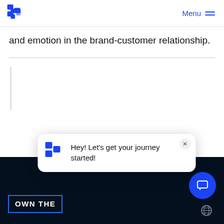Menu
and emotion in the brand-customer relationship.
[Figure (screenshot): Chat popup widget with logo and text 'Hey! Let's get your journey started!' with a close button]
OWN THE